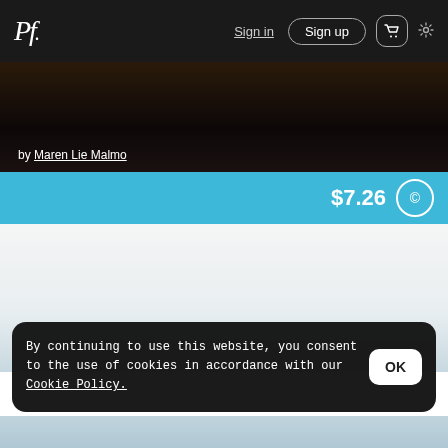Pf. Sign in Sign up [cart] [settings]
[Figure (photo): Dark background image area with text attribution]
by Maren Lie Malmo
$7.26
[Figure (photo): Light gradient background area]
By continuing to use this website, you consent to the use of cookies in accordance with our Cookie Policy.
[Figure (photo): Bottom image area with light blue tones]